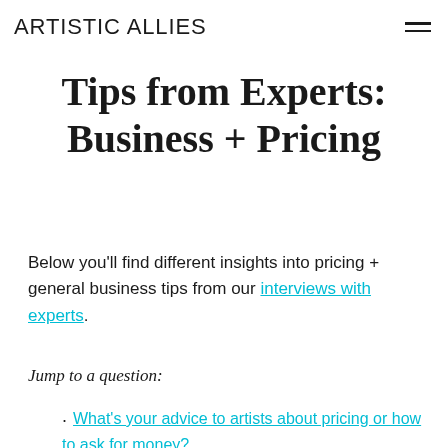ARTISTIC ALLIES
Tips from Experts: Business + Pricing
Below you'll find different insights into pricing + general business tips from our interviews with experts.
Jump to a question:
What's your advice to artists about pricing or how to ask for money?